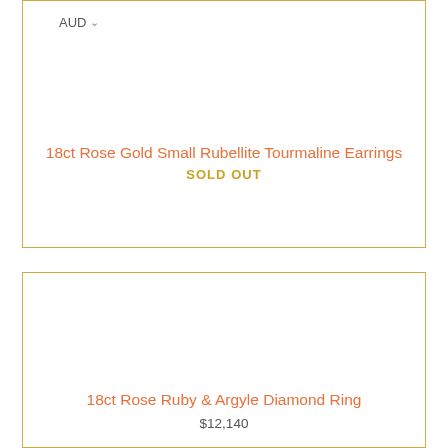AUD
18ct Rose Gold Small Rubellite Tourmaline Earrings
SOLD OUT
18ct Rose Ruby & Argyle Diamond Ring
$12,140